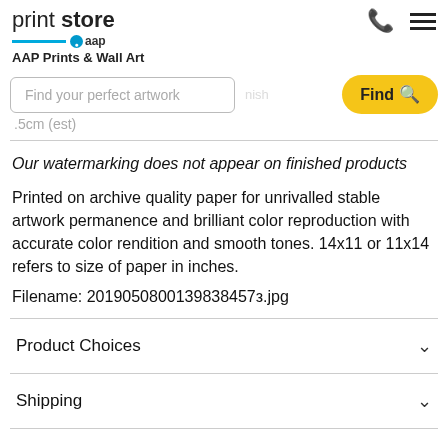print store aap — AAP Prints & Wall Art
Find your perfect artwork
Find
Our watermarking does not appear on finished products
Printed on archive quality paper for unrivalled stable artwork permanence and brilliant color reproduction with accurate color rendition and smooth tones. 14x11 or 11x14 refers to size of paper in inches.
Filename: 2019050800139838457з.jpg
Product Choices
Shipping
30 Day Money Back Guarantee